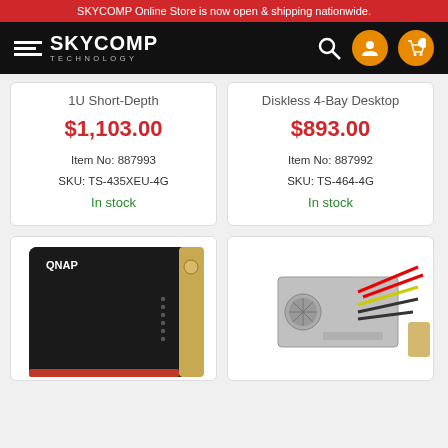SKYCOMP Online Store is now open & shipping nationwide.
[Figure (logo): SKYCOMP TECHNOLOGY logo with hamburger menu lines on black navbar background, plus search, user, and cart icons]
1U Short-Depth
$1,103.00
Item No: 887993
SKU: TS-435XEU-4G
In stock
Diskless 4-Bay Desktop
$893.00
Item No: 887992
SKU: TS-464-4G
In stock
[Figure (photo): QNAP NAS storage device, black front panel with gold accents, tower form factor]
[Figure (photo): Power supply unit (PSU) with red, yellow and black cables]